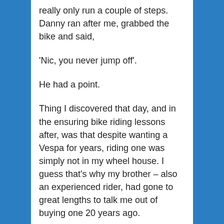really only run a couple of steps. Danny ran after me, grabbed the bike and said,
‘Nic, you never jump off’.
He had a point.
Thing I discovered that day, and in the ensuring bike riding lessons after, was that despite wanting a Vespa for years, riding one was simply not in my wheel house. I guess that’s why my brother – also an experienced rider, had gone to great lengths to talk me out of buying one 20 years ago.
The ending to this story is predictable. We sold the Vespa and used the money to buy push bikes – something the whole family could enjoy. I realised, creating my own power was more my